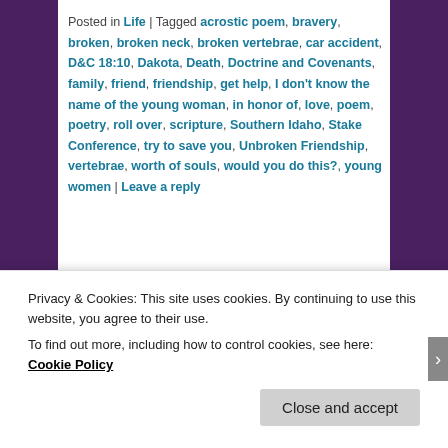Posted in Life | Tagged acrostic poem, bravery, broken, broken neck, broken vertebrae, car accident, D&C 18:10, Dakota, Death, Doctrine and Covenants, family, friend, friendship, get help, I don't know the name of the young woman, in honor of, love, poem, poetry, roll over, scripture, Southern Idaho, Stake Conference, try to save you, Unbroken Friendship, vertebrae, worth of souls, would you do this?, young women | Leave a reply
Search
Privacy & Cookies: This site uses cookies. By continuing to use this website, you agree to their use.
To find out more, including how to control cookies, see here: Cookie Policy